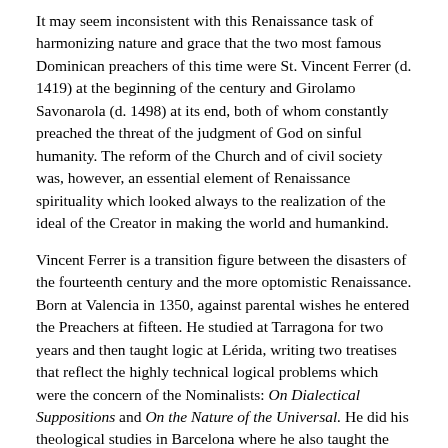It may seem inconsistent with this Renaissance task of harmonizing nature and grace that the two most famous Dominican preachers of this time were St. Vincent Ferrer (d. 1419) at the beginning of the century and Girolamo Savonarola (d. 1498) at its end, both of whom constantly preached the threat of the judgment of God on sinful humanity. The reform of the Church and of civil society was, however, an essential element of Renaissance spirituality which looked always to the realization of the ideal of the Creator in making the world and humankind.
Vincent Ferrer is a transition figure between the disasters of the fourteenth century and the more optomistic Renaissance. Born at Valencia in 1350, against parental wishes he entered the Preachers at fifteen. He studied at Tarragona for two years and then taught logic at Lérida, writing two treatises that reflect the highly technical logical problems which were the concern of the Nominalists: On Dialectical Suppositions and On the Nature of the Universal. He did his theological studies in Barcelona where he also taught the natural sciences and completed them at Toulouse. He described his life in those days as "study